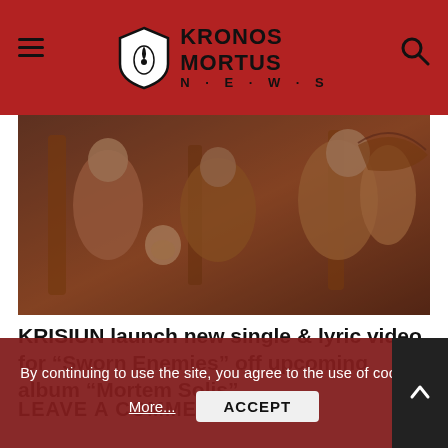KRONOS MORTUS NEWS
[Figure (illustration): Dark relief sculpture artwork showing mythological or ancient warrior figures with dramatic details in brown/copper tones]
KRISIUN launch new single & lyric video for “Sworn Enemies” off upcoming album “Mortem Solis”
LEAVE A COMMENT
By continuing to use the site, you agree to the use of cookies.
More... ACCEPT